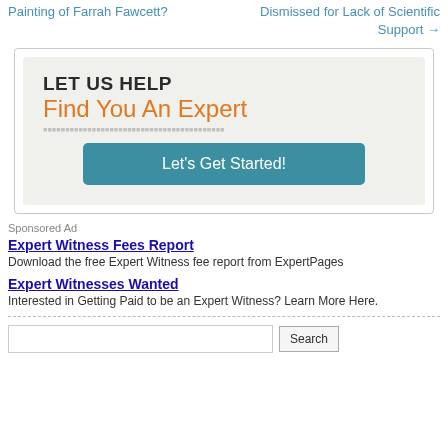Painting of Farrah Fawcett?
Dismissed for Lack of Scientific Support →
[Figure (infographic): Advertisement box: LET US HELP Find You An Expert with a teal 'Let's Get Started!' button]
Sponsored Ad
Expert Witness Fees Report
Download the free Expert Witness fee report from ExpertPages
Expert Witnesses Wanted
Interested in Getting Paid to be an Expert Witness? Learn More Here.